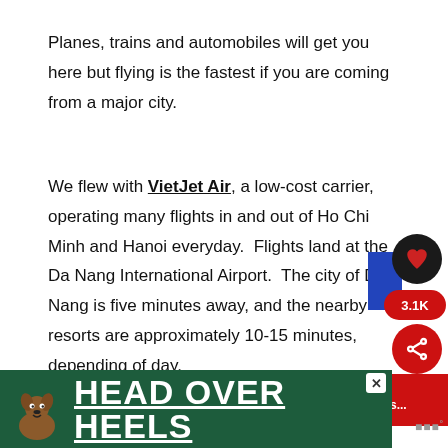Planes, trains and automobiles will get you here but flying is the fastest if you are coming from a major city.
We flew with VietJet Air, a low-cost carrier, operating many flights in and out of Ho Chi Minh and Hanoi everyday.  Flights land at the Da Nang International Airport.  The city of Da Nang is five minutes away, and the nearby resorts are approximately 10-15 minutes, depending of day.
[Figure (screenshot): Social media buttons overlay: heart/like button (dark circle), blue vertical bar, 3.1K count (red pill), share button (red circle with share icon)]
[Figure (infographic): What's Next banner in red: thumbnail of Bruges buildings, text 'WHAT'S NEXT → 24 hours in Bruges...']
[Figure (screenshot): Advertisement banner: green background, dog illustration, text 'HEAD OVER HEELS' in white underlined bold font, close button X, logo mark]